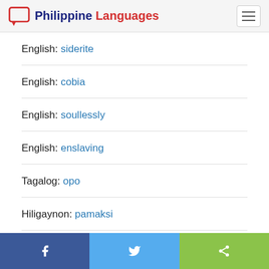Philippine Languages
English: siderite
English: cobia
English: soullessly
English: enslaving
Tagalog: opo
Hiligaynon: pamaksi
English: (partial, cut off)
Share buttons: Facebook, Twitter, Share